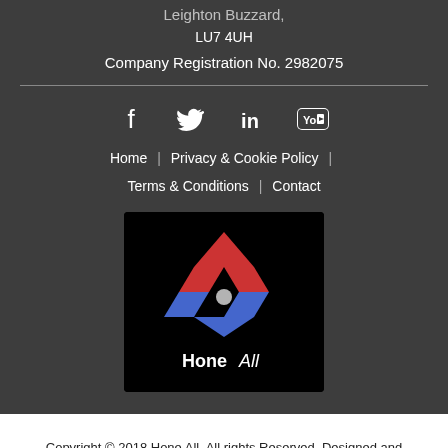Leighton Buzzard, LU7 4UH
Company Registration No. 2982075
[Figure (illustration): Social media icons: Facebook, Twitter, LinkedIn, YouTube]
Home | Privacy & Cookie Policy | Terms & Conditions | Contact
[Figure (logo): Hone All company logo on black background with red and blue angular H shape and text 'Hone All']
Copyright © 2018 Hone All. All rights Reserved. Designed and Developed by JDR Group